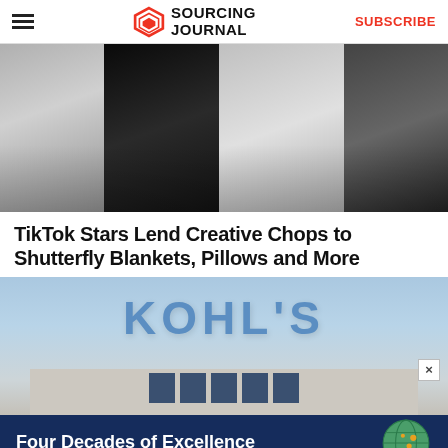Sourcing Journal | SUBSCRIBE
[Figure (photo): Black and white photo of four people including TikTok stars, likely influencers for Shutterfly campaign]
TikTok Stars Lend Creative Chops to Shutterfly Blankets, Pillows and More
[Figure (photo): Exterior photo of a Kohl's department store with blue lettering sign on building facade]
[Figure (infographic): Advertisement banner with dark navy background reading 'Four Decades of Excellence' with globe icon]